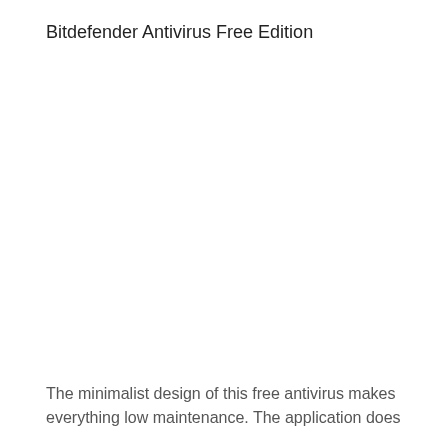Bitdefender Antivirus Free Edition
The minimalist design of this free antivirus makes everything low maintenance. The application does